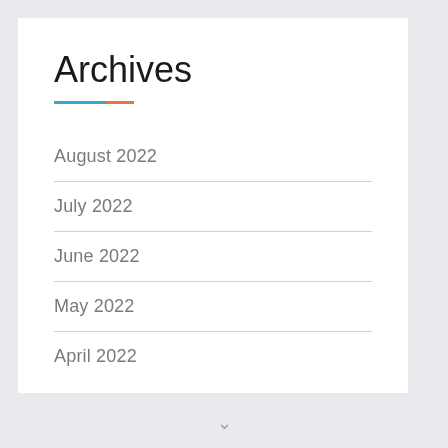Archives
August 2022
July 2022
June 2022
May 2022
April 2022